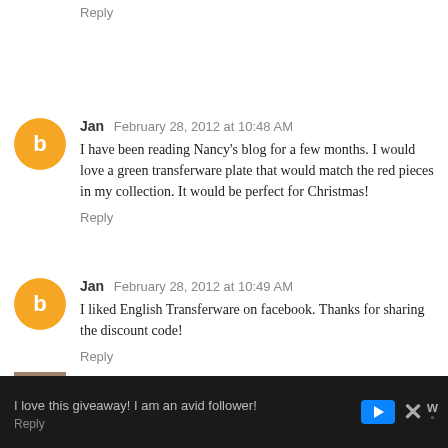Reply
Jan  February 28, 2012 at 10:48 AM
I have been reading Nancy's blog for a few months. I would love a green transferware plate that would match the red pieces in my collection. It would be perfect for Christmas!
Reply
Jan  February 28, 2012 at 10:49 AM
I liked English Transferware on facebook. Thanks for sharing the discount code!
Reply
Honey at 2805  February 28, 2012 at 3:17 PM
I love this giveaway! I am an avid follower!
Reply